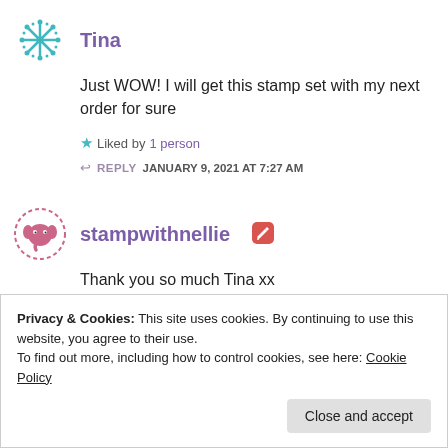Tina
Just WOW! I will get this stamp set with my next order for sure
Liked by 1 person
REPLY  JANUARY 9, 2021 AT 7:27 AM
stampwithnellie
Thank you so much Tina xx
Like
Privacy & Cookies: This site uses cookies. By continuing to use this website, you agree to their use.
To find out more, including how to control cookies, see here: Cookie Policy
Close and accept